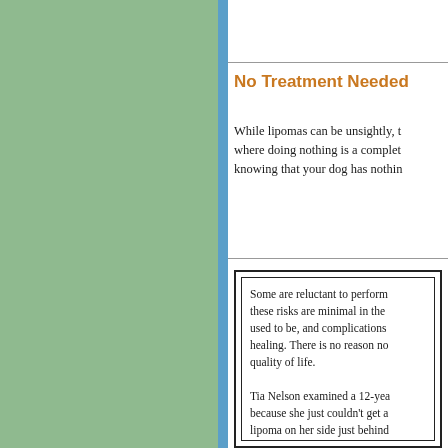No Treatment Needed
While lipomas can be unsightly, t... where doing nothing is a complet... knowing that your dog has nothin...
Some are reluctant to perform... these risks are minimal in the... used to be, and complications... healing. There is no reason no... quality of life.

Tia Nelson examined a 12-yea... because she just couldn't get a... lipoma on her side just behind... "and the dog enjoyed another...